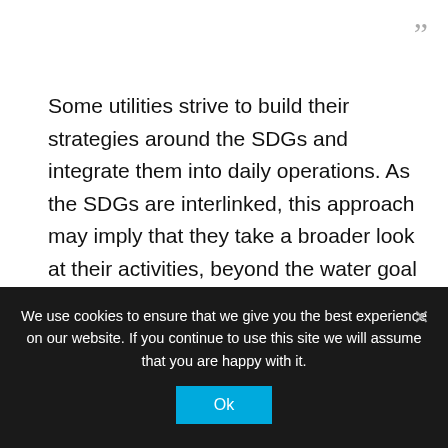Some utilities strive to build their strategies around the SDGs and integrate them into daily operations. As the SDGs are interlinked, this approach may imply that they take a broader look at their activities, beyond the water goal and into new areas of operation. For instance, they can use SDG 13 as a basis for developing more energy-efficient solutions in the company's operations and engage in energy recovery. Implementing goal 12 may call for attention to the total resource consumption in the company, and – if work accidents are a concern – it may be important to prioritize
We use cookies to ensure that we give you the best experience on our website. If you continue to use this site we will assume that you are happy with it.